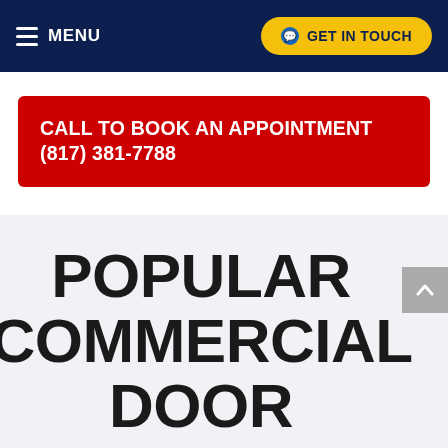MENU | GET IN TOUCH
CALL TO BOOK AN APPOINTMENT (817) 381-7788
POPULAR COMMERCIAL DOOR REPAIRS